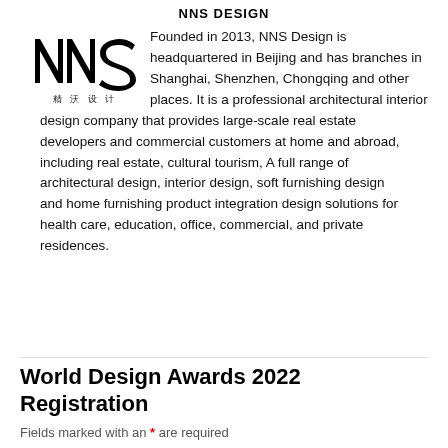NNS DESIGN
[Figure (logo): NNS Design logo with stylized NNS letters and Chinese characters 精沃设计 below]
Founded in 2013, NNS Design is headquartered in Beijing and has branches in Shanghai, Shenzhen, Chongqing and other places. It is a professional architectural interior design company that provides large-scale real estate developers and commercial customers at home and abroad, including real estate, cultural tourism, A full range of architectural design, interior design, soft furnishing design and home furnishing product integration design solutions for health care, education, office, commercial, and private residences.
World Design Awards 2022 Registration
Fields marked with an * are required